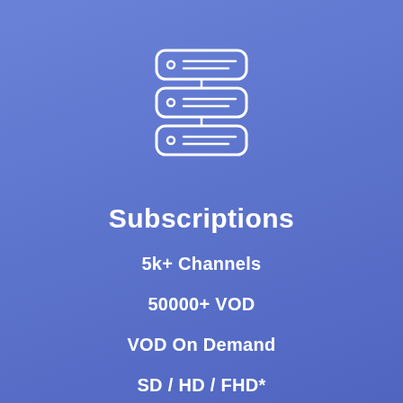[Figure (illustration): White outline icon of a database server stack — three stacked rounded-rectangle layers with a small circle and two horizontal lines on each layer, connected by vertical lines]
Subscriptions
5k+ Channels
50000+ VOD
VOD On Demand
SD / HD / FHD*
UK / USA / IE / ASIAN